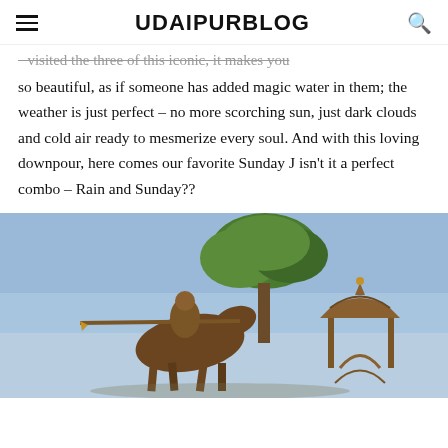UDAIPURBLOG
...visited the three of this iconic, it makes you so beautiful, as if someone has added magic water in them; the weather is just perfect – no more scorching sun, just dark clouds and cold air ready to mesmerize every soul. And with this loving downpour, here comes our favorite Sunday J isn't it a perfect combo – Rain and Sunday??
[Figure (photo): Outdoor bronze sculpture/monument with a warrior figure on horseback holding a lance, with decorative canopy/architectural elements and a green tree in the background against a blue sky.]